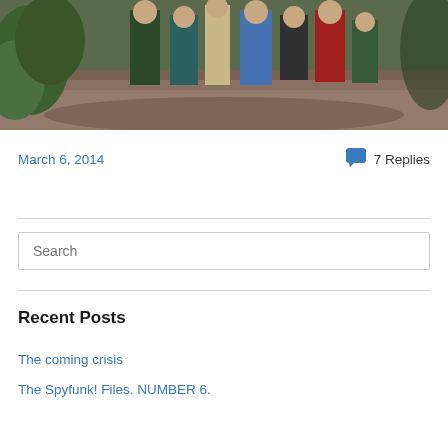[Figure (photo): Group of people in medieval costumes walking along a woodland path covered in dead leaves, with green foliage on the left side]
March 6, 2014
7 Replies
Search
Recent Posts
The coming crisis
The Spyfunk! Files. NUMBER 6.